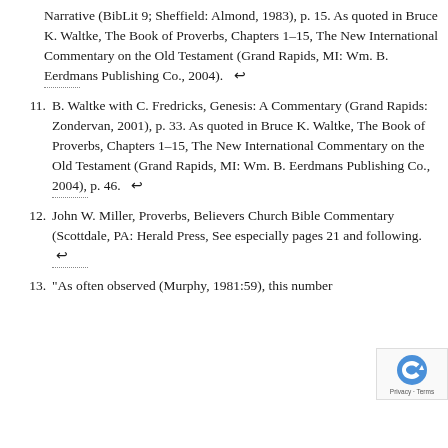Narrative (BibLit 9; Sheffield: Almond, 1983), p. 15. As quoted in Bruce K. Waltke, The Book of Proverbs, Chapters 1–15, The New International Commentary on the Old Testament (Grand Rapids, MI: Wm. B. Eerdmans Publishing Co., 2004).  ↩
11. B. Waltke with C. Fredricks, Genesis: A Commentary (Grand Rapids: Zondervan, 2001), p. 33. As quoted in Bruce K. Waltke, The Book of Proverbs, Chapters 1–15, The New International Commentary on the Old Testament (Grand Rapids, MI: Wm. B. Eerdmans Publishing Co., 2004), p. 46.  ↩
12. John W. Miller, Proverbs, Believers Church Bible Commentary (Scottdale, PA: Herald Press, See especially pages 21 and following.  ↩
13. "As often observed (Murphy, 1981:59), this number